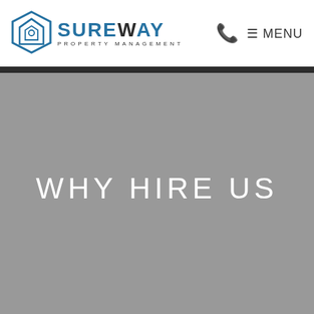[Figure (logo): Sureway Property Management logo with geometric house icon and company name]
☰ MENU
WHY HIRE US